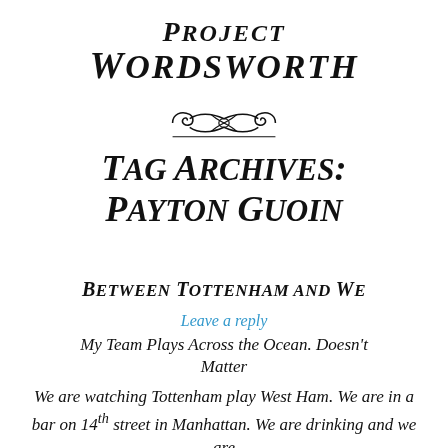Project Wordsworth
[Figure (illustration): Decorative ornamental divider with interlocking scroll/flourish design]
Tag Archives: Payton Guoin
Between Tottenham and We
Leave a reply
My Team Plays Across the Ocean. Doesn't Matter
We are watching Tottenham play West Ham. We are in a bar on 14th street in Manhattan. We are drinking and we are singing. We are...